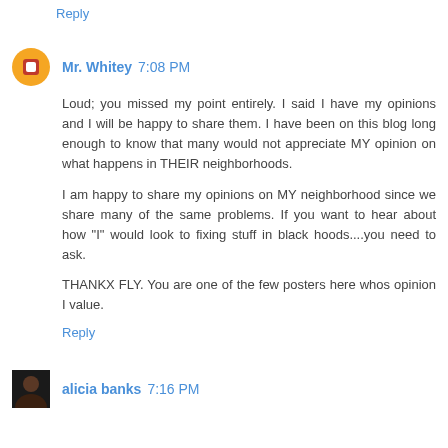Reply
Mr. Whitey 7:08 PM
Loud; you missed my point entirely. I said I have my opinions and I will be happy to share them. I have been on this blog long enough to know that many would not appreciate MY opinion on what happens in THEIR neighborhoods.

I am happy to share my opinions on MY neighborhood since we share many of the same problems. If you want to hear about how "I" would look to fixing stuff in black hoods....you need to ask.

THANKX FLY. You are one of the few posters here whos opinion I value.
Reply
alicia banks 7:16 PM